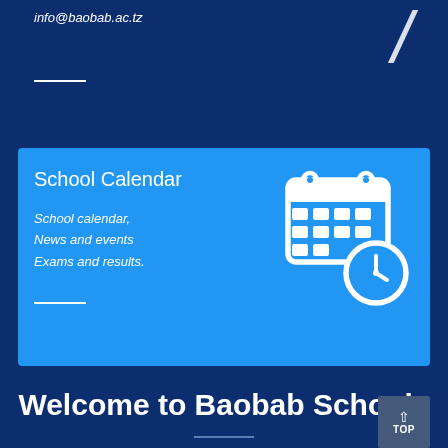info@baobab.ac.tz
[Figure (other): Large italic slash / character decorating the top card]
School Calendar
School calendar,
News and events
Exams and results.
[Figure (illustration): White calendar icon with clock overlay on blue background]
Welcome to Baobab Schools
Baobab Secondary School is purpose-built girls and boys boarding school situated at Mapinga village in